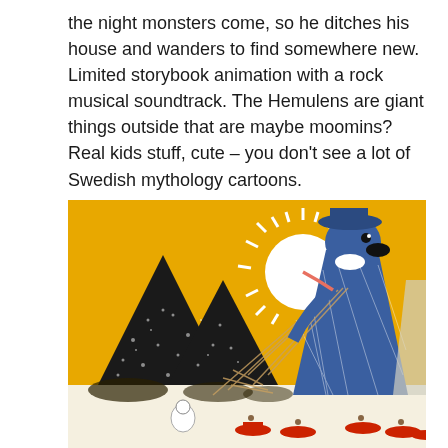the night monsters come, so he ditches his house and wanders to find somewhere new. Limited storybook animation with a rock musical soundtrack. The Hemulens are giant things outside that are maybe moomins? Real kids stuff, cute – you don't see a lot of Swedish mythology cartoons.
[Figure (illustration): Colorful storybook illustration from Moomins animation: a large blue-cloaked figure with a dark beak/snout and hat holds a fishing net casting rays, standing against a yellow sky with a bright white sun. Black pointed mountains are on the left with dotted texture. Small Moomin-like figures in red boats are at the bottom.]